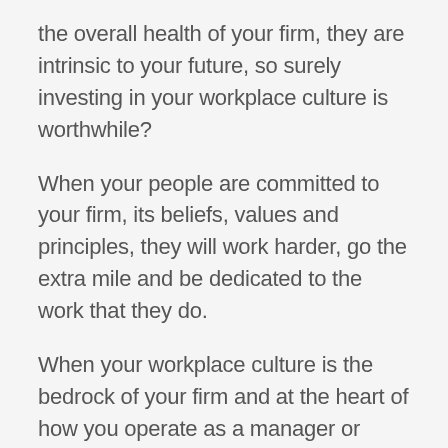the overall health of your firm, they are intrinsic to your future, so surely investing in your workplace culture is worthwhile?
When your people are committed to your firm, its beliefs, values and principles, they will work harder, go the extra mile and be dedicated to the work that they do.
When your workplace culture is the bedrock of your firm and at the heart of how you operate as a manager or business leader, then this culture will naturally flow through you, your team and the decisions you make.